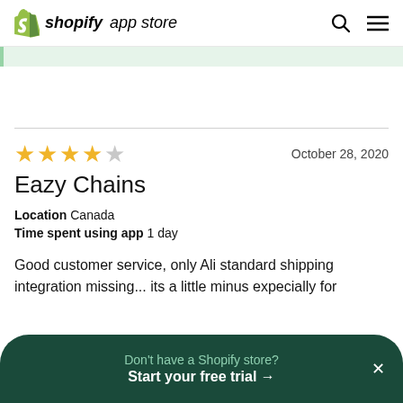shopify app store
[Figure (other): Partial green banner/highlight area below header]
★★★★☆   October 28, 2020
Eazy Chains
Location  Canada
Time spent using app  1 day
Good customer service, only Ali standard shipping integration missing... its a little minus expecially for
Don't have a Shopify store? Start your free trial →